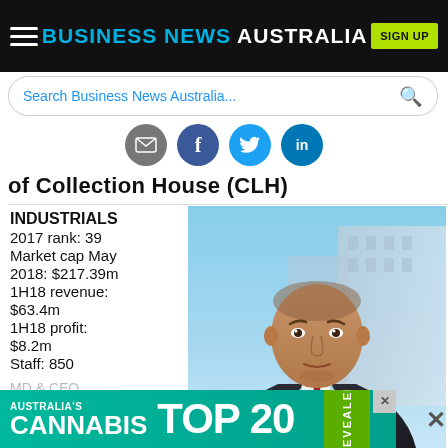BUSINESS NEWS AUSTRALIA
Search Business News Australia...
[Figure (screenshot): Social sharing icons row: email, Facebook, Twitter, LinkedIn]
of Collection House (CLH)
INDUSTRIALS
2017 rank: 39
Market cap May 2018: $217.39m
1H18 revenue: $63.4m
1H18 profit: $8.2m
Staff: 850
[Figure (photo): Portrait photo of a middle-aged man in a dark suit and tie, against a city building background]
MD & CEO
Antho...
Listed:...
[Figure (infographic): Australia's Cannabis Top 20 Revealed - advertisement banner in teal/green]